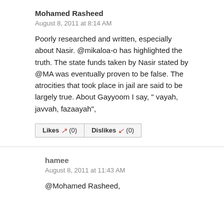Mohamed Rasheed
August 8, 2011 at 8:14 AM
Poorly researched and written, especially about Nasir. @mikaloa-o has highlighted the truth. The state funds taken by Nasir stated by @MA was eventually proven to be false. The atrocities that took place in jail are said to be largely true. About Gayyoom I say, " vayah, javvah, fazaayah",
Likes (0)   Dislikes (0)
hamee
August 8, 2011 at 11:43 AM
@Mohamed Rasheed,